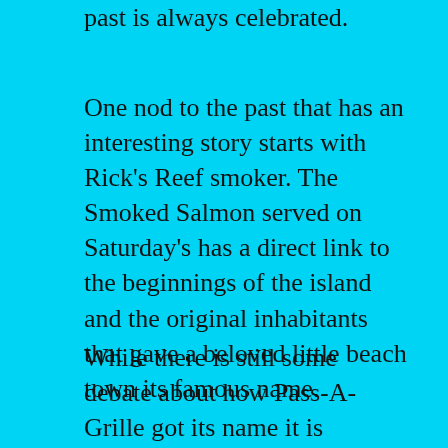past is always celebrated.
One nod to the past that has an interesting story starts with Rick’s Reef smoker. The Smoked Salmon served on Saturday’s has a direct link to the beginnings of the island and the original inhabitants that gave a beloved little beach town its famous name.
While there is still some debate about how Pass-A-Grille got its name it is generally accepted as being French origin. The phrase “La passe aux grilleurs” is literally translated as “passageway of the grillers” and legend has it that French speaking fishermen would grill